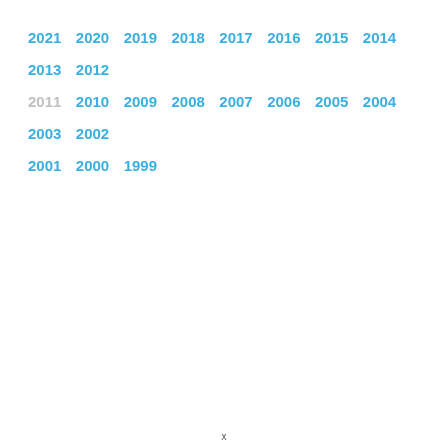2021 2020 2019 2018 2017 2016 2015 2014 2013 2012 2011 2010 2009 2008 2007 2006 2005 2004 2003 2002 2001 2000 1999
x